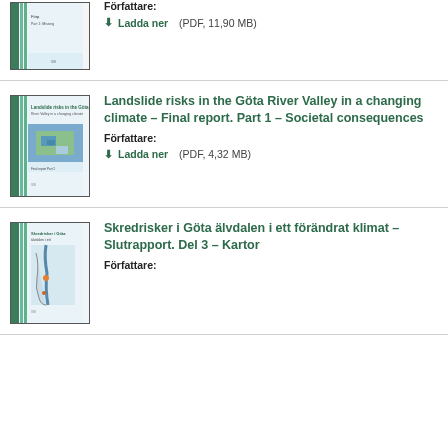[Figure (illustration): Thumbnail cover image of a report with blue/green stripes]
Författare:
Ladda ner (PDF, 11,90 MB)
[Figure (illustration): Thumbnail cover image showing aerial photo of river valley]
Landslide risks in the Göta River Valley in a changing climate – Final report. Part 1 – Societal consequences
Författare:
Ladda ner (PDF, 4,32 MB)
[Figure (illustration): Thumbnail cover image showing a map of Göta river valley area]
Skredrisker i Göta älvdalen i ett förändrat klimat – Slutrapport. Del 3 – Kartor
Författare: